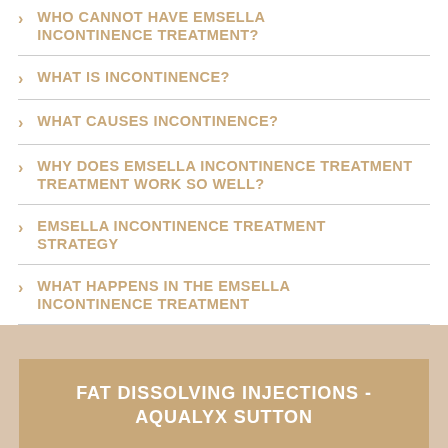WHO CANNOT HAVE EMSELLA INCONTINENCE TREATMENT?
WHAT IS INCONTINENCE?
WHAT CAUSES INCONTINENCE?
WHY DOES EMSELLA INCONTINENCE TREATMENT WORK SO WELL?
EMSELLA INCONTINENCE TREATMENT STRATEGY
WHAT HAPPENS IN THE EMSELLA INCONTINENCE TREATMENT
FAT DISSOLVING INJECTIONS - AQUALYX SUTTON